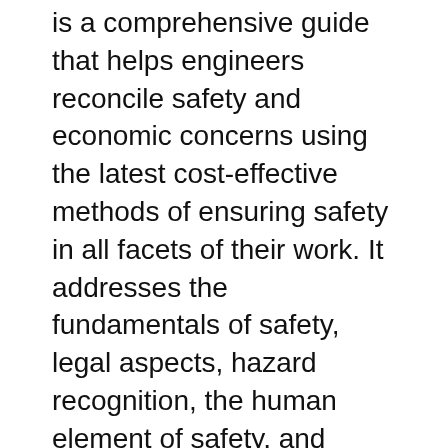is a comprehensive guide that helps engineers reconcile safety and economic concerns using the latest cost-effective methods of ensuring safety in all facets of their work. It addresses the fundamentals of safety, legal aspects, hazard recognition, the human element of safety, and techniques for COUPON: Rent Safety and Health for Engineers 3rd edition (9781118959459) and save up to 80% on textbook rentals and 90% on used textbooks. Get FREE 7-day instant eTextbook access!
Get instant access to our step-by-step Occupational Safety And Health For Technologists Engineers And Managers solutions manual. Our solution manuals are written by Chegg experts so you can be assured of the